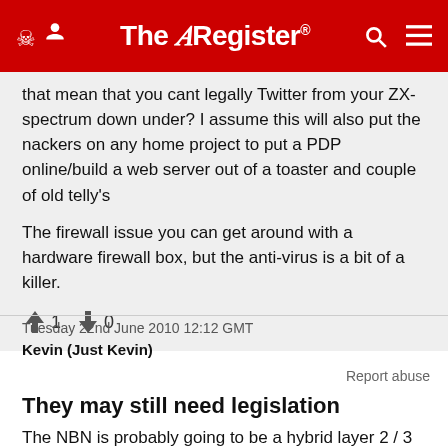The Register
that mean that you cant legally Twitter from your ZX-spectrum down under? I assume this will also put the nackers on any home project to put a PDP online/build a web server out of a toaster and couple of old telly's

The firewall issue you can get around with a hardware firewall box, but the anti-virus is a bit of a killer.
↑1  ↓0
Tuesday 22nd June 2010 12:12 GMT
Kevin (Just Kevin)
Report abuse
They may still need legislation
The NBN is probably going to be a hybrid layer 2 / 3 network. Most of the current big players will take L2